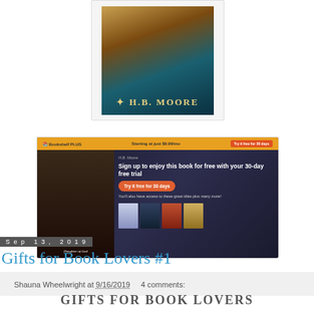[Figure (illustration): Book cover for a novel by H.B. Moore, showing a dark landscape with teal and gold tones]
[Figure (screenshot): Bookshelf Plus advertisement banner: 'Sign up to enjoy this book for free with your 30-day free trial' with orange Try it free for 30 days button and row of book covers, featuring Deborah: Daughter of God by H.B. Moore]
Shauna Wheelwright at 9/16/2019   4 comments:
Sep 13, 2019
Gifts for Book Lovers #1
GIFTS FOR BOOK LOVERS